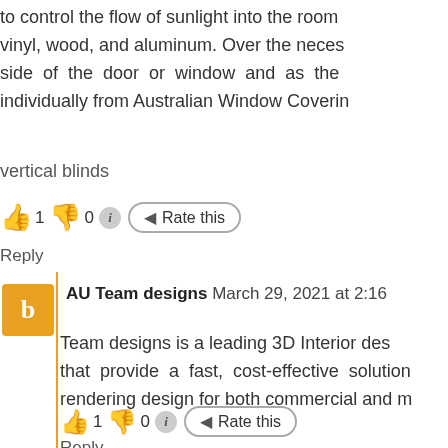to control the flow of sunlight into the room vinyl, wood, and aluminum. Over the necessary side of the door or window and as the individually from Australian Window Covering
vertical blinds
[Figure (infographic): Thumbs up icon (green), count 1, thumbs down icon (red), count 0, info icon, Rate this button]
Reply
AU Team designs March 29, 2021 at 2:16
Team designs is a leading 3D Interior designs that provide a fast, cost-effective solution rendering design for both commercial and m
[Figure (infographic): Thumbs up icon (green), count 1, thumbs down icon (red), count 0, info icon, Rate this button]
Reply